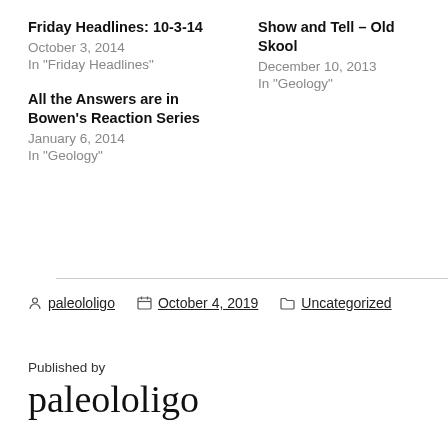Friday Headlines: 10-3-14
October 3, 2014
In "Friday Headlines"
Show and Tell – Old Skool
December 10, 2013
In "Geology"
All the Answers are in Bowen's Reaction Series
January 6, 2014
In "Geology"
paleololigo   October 4, 2019   Uncategorized
Published by
paleololigo